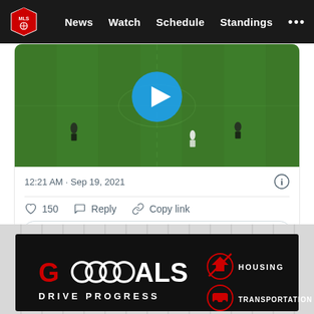MLS | News  Watch  Schedule  Standings  ...
[Figure (screenshot): Soccer/football video thumbnail showing a green field with players and a play button overlay]
12:21 AM · Sep 19, 2021
150  Reply  Copy link
Read 2 replies
[Figure (infographic): Audi GOALS Drive Progress advertisement banner with HOUSING and TRANSPORTATION icons on dark background]